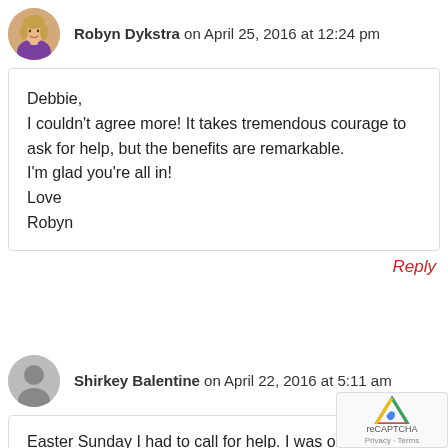Robyn Dykstra on April 25, 2016 at 12:24 pm
Debbie,
I couldn't agree more! It takes tremendous courage to ask for help, but the benefits are remarkable.
I'm glad you're all in!
Love
Robyn
Reply
Shirkey Balentine on April 22, 2016 at 5:11 am
Easter Sunday I had to call for help. I was on m...